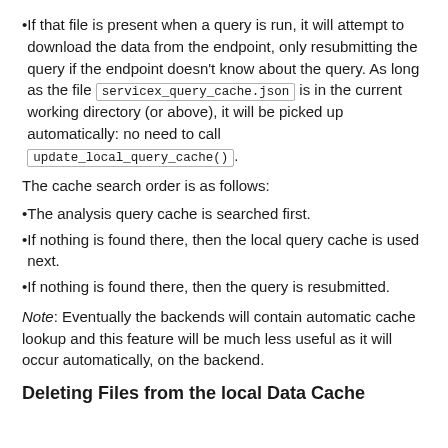If that file is present when a query is run, it will attempt to download the data from the endpoint, only resubmitting the query if the endpoint doesn't know about the query. As long as the file servicex_query_cache.json is in the current working directory (or above), it will be picked up automatically: no need to call update_local_query_cache().
The cache search order is as follows:
The analysis query cache is searched first.
If nothing is found there, then the local query cache is used next.
If nothing is found there, then the query is resubmitted.
Note: Eventually the backends will contain automatic cache lookup and this feature will be much less useful as it will occur automatically, on the backend.
Deleting Files from the local Data Cache